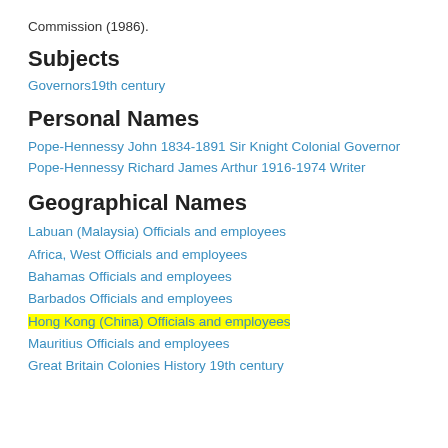Commission (1986).
Subjects
Governors19th century
Personal Names
Pope-Hennessy John 1834-1891 Sir Knight Colonial Governor
Pope-Hennessy Richard James Arthur 1916-1974 Writer
Geographical Names
Labuan (Malaysia) Officials and employees
Africa, West Officials and employees
Bahamas Officials and employees
Barbados Officials and employees
Hong Kong (China) Officials and employees
Mauritius Officials and employees
Great Britain Colonies History 19th century